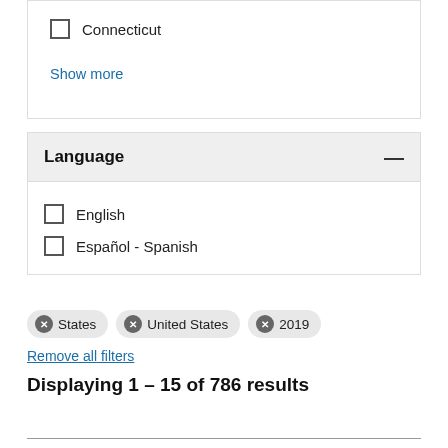Connecticut
Show more
Language
English
Español - Spanish
States   United States   2019
Remove all filters
Displaying 1 – 15 of 786 results